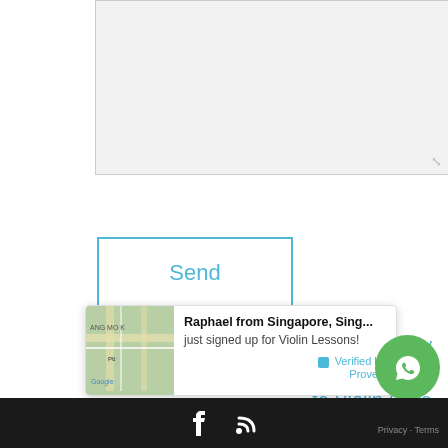[Figure (screenshot): Grey textarea input field with resize handle at bottom right]
Send
Return from Bow Rehairing And Bow Care to Violin Care
Return to The Happy Violinist Home
[Figure (infographic): Notification popup: Raphael from Singapore, Sing... just signed up for Violin Lessons! Verified by Provely, with Google Maps thumbnail]
[Figure (other): WhatsApp contact button (green circle with phone icon)]
Privacy - Terms